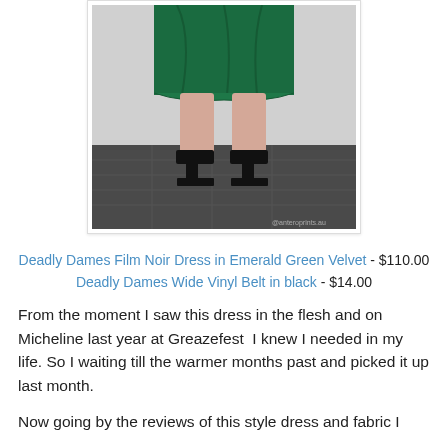[Figure (photo): Lower half of a person wearing an emerald green velvet dress and black high heel platform shoes, standing on a dark grey tiled floor against a white background.]
Deadly Dames Film Noir Dress in Emerald Green Velvet - $110.00
Deadly Dames Wide Vinyl Belt in black - $14.00
From the moment I saw this dress in the flesh and on Micheline last year at Greazefest  I knew I needed in my life. So I waiting till the warmer months past and picked it up last month.
Now going by the reviews of this style dress and fabric I